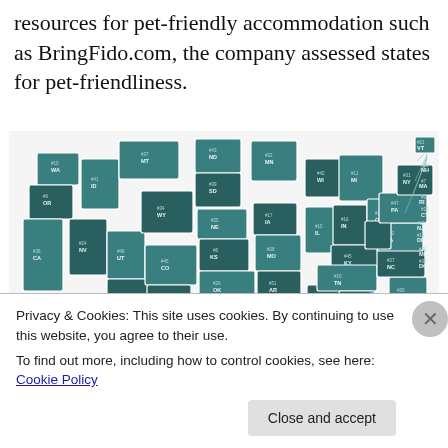resources for pet-friendly accommodation such as BringFido.com, the company assessed states for pet-friendliness.
[Figure (map): US map showing pet-friendliness rankings by state, colored in teal/dark teal, with state abbreviations and rank numbers (e.g. #1 ME, #7 MA, #14 FL, #44 AK, etc.)]
Privacy & Cookies: This site uses cookies. By continuing to use this website, you agree to their use.
To find out more, including how to control cookies, see here: Cookie Policy